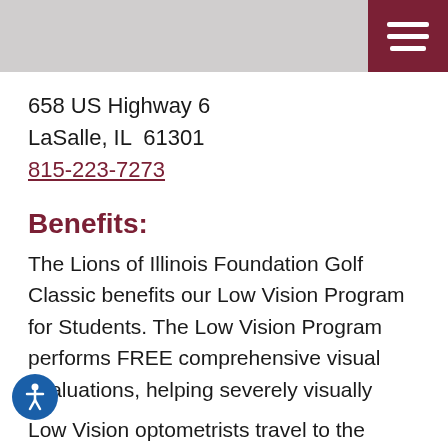658 US Highway 6
LaSalle, IL  61301
815-223-7273
Benefits:
The Lions of Illinois Foundation Golf Classic benefits our Low Vision Program for Students. The Low Vision Program performs FREE comprehensive visual evaluations, helping severely visually impaired students make the most of their remaining sight. Students from kindergarten through twelfth grade gain a better understanding and awareness of their vision loss.
Low Vision optometrists travel to the